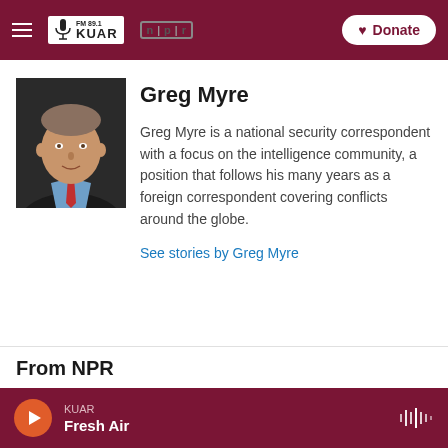FM 89.1 KUAR | NPR | Donate
[Figure (photo): Headshot of Greg Myre, a man in a dark suit and blue shirt with a red tie, against a dark background]
Greg Myre
Greg Myre is a national security correspondent with a focus on the intelligence community, a position that follows his many years as a foreign correspondent covering conflicts around the globe.
See stories by Greg Myre
From NPR
KUAR | Fresh Air